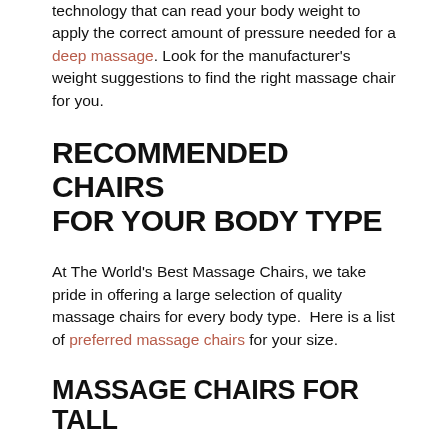technology that can read your body weight to apply the correct amount of pressure needed for a deep massage. Look for the manufacturer's weight suggestions to find the right massage chair for you.
RECOMMENDED CHAIRS FOR YOUR BODY TYPE
At The World's Best Massage Chairs, we take pride in offering a large selection of quality massage chairs for every body type.  Here is a list of preferred massage chairs for your size.
MASSAGE CHAIRS FOR TALL
The POSITIVE POSTURE BRIO+ massage chair by Positive Posture is designed for people 5'-6' tall. It is packed with features for a full-body